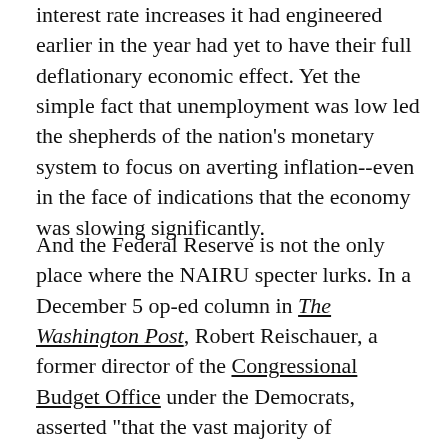interest rate increases it had engineered earlier in the year had yet to have their full deflationary economic effect. Yet the simple fact that unemployment was low led the shepherds of the nation's monetary system to focus on averting inflation--even in the face of indications that the economy was slowing significantly.
And the Federal Reserve is not the only place where the NAIRU specter lurks. In a December 5 op-ed column in The Washington Post, Robert Reischauer, a former director of the Congressional Budget Office under the Democrats, asserted "that the vast majority of economists welcome slower growth because they believe that the current 4 percent unemployment rate is incompatible with price stability." Given the economy's recent performance, this is an economists' special: the